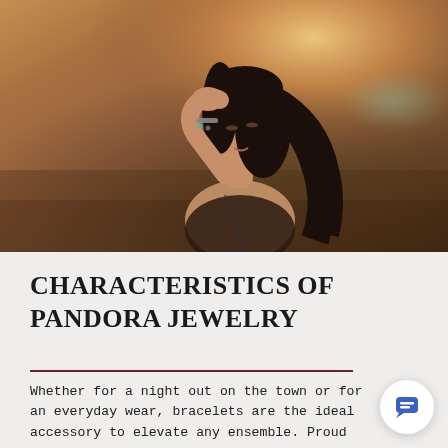[Figure (photo): A young woman with long dark hair, wearing a black top, raises her hand to her forehead in a dreamy pose against a warm sunset/golden hour outdoor background. She wears a bracelet with charms on her raised wrist.]
CHARACTERISTICS OF PANDORA JEWELRY
Whether for a night out on the town or for an everyday wear, bracelets are the ideal accessory to elevate any ensemble. Proud